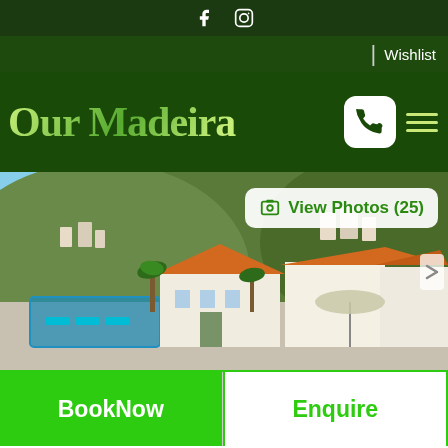Social icons (Facebook, Instagram)
Wishlist
Our Madeira
[Figure (photo): Aerial view of white villas with orange terracotta roofs, swimming pool with blue sun loungers, palm trees, and green hillside in the background under blue sky]
View Photos (25)
BookNow
Enquire